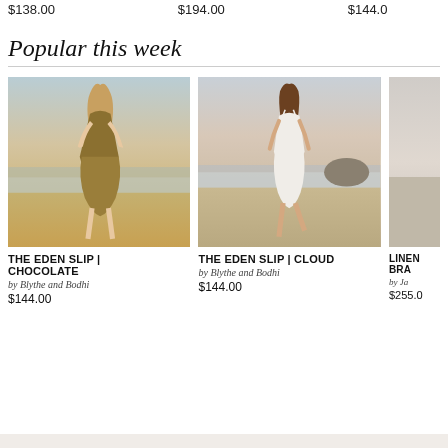$138.00
$194.00
$144.0
Popular this week
[Figure (photo): Woman in olive/gold slip dress walking on beach at sunset]
THE EDEN SLIP | CHOCOLATE
by Blythe and Bodhi
$144.00
[Figure (photo): Woman in white/cream slip dress walking on beach at sunset]
THE EDEN SLIP | CLOUD
by Blythe and Bodhi
$144.00
[Figure (photo): Partially visible product image on beach]
LINEN BRA
by Ja
$255.0